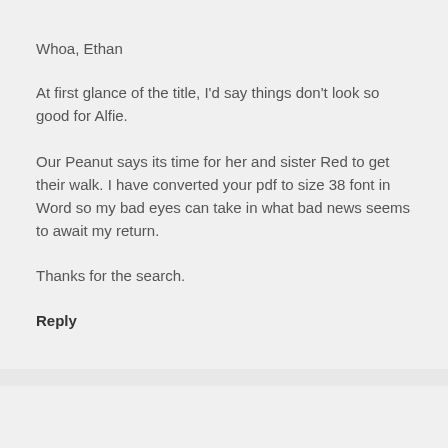Whoa, Ethan
At first glance of the title, I'd say things don't look so good for Alfie.
Our Peanut says its time for her and sister Red to get their walk. I have converted your pdf to size 38 font in Word so my bad eyes can take in what bad news seems to await my return.
Thanks for the search.
Reply